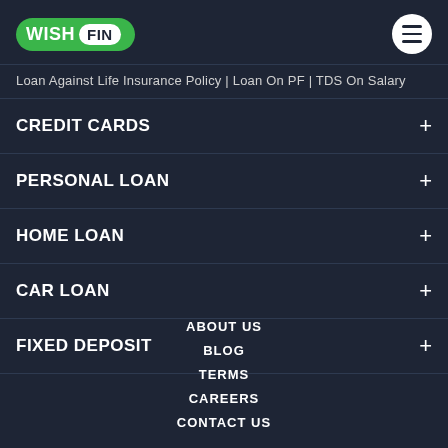[Figure (logo): WishFin logo — green pill shape with WISH in white bold and FIN in dark text on white circle]
Loan Against Life Insurance Policy | Loan On PF | TDS On Salary
CREDIT CARDS +
PERSONAL LOAN +
HOME LOAN +
CAR LOAN +
FIXED DEPOSIT +
ABOUT US
BLOG
TERMS
CAREERS
CONTACT US